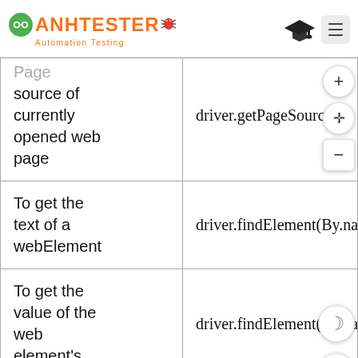ANHTESTER Automation Testing
| Description | Code |
| --- | --- |
| Page source of currently opened web page | driver.getPageSource(); |
| To get the text of a webElement | driver.findElement(By.nam... |
| To get the value of the web element's | driver.findElement(By.name... |